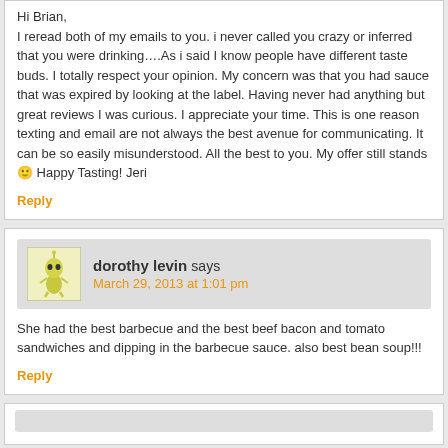Hi Brian, I reread both of my emails to you. i never called you crazy or inferred that you were drinking….As i said I know people have different taste buds. I totally respect your opinion. My concern was that you had sauce that was expired by looking at the label. Having never had anything but great reviews I was curious. I appreciate your time. This is one reason texting and email are not always the best avenue for communicating. It can be so easily misunderstood. All the best to you. My offer still stands 🙂 Happy Tasting! Jeri
Reply
dorothy levin says
March 29, 2013 at 1:01 pm
She had the best barbecue and the best beef bacon and tomato sandwiches and dipping in the barbecue sauce. also best bean soup!!!
Reply